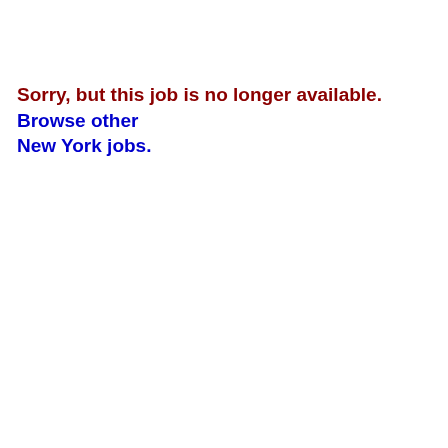Sorry, but this job is no longer available. Browse other New York jobs.